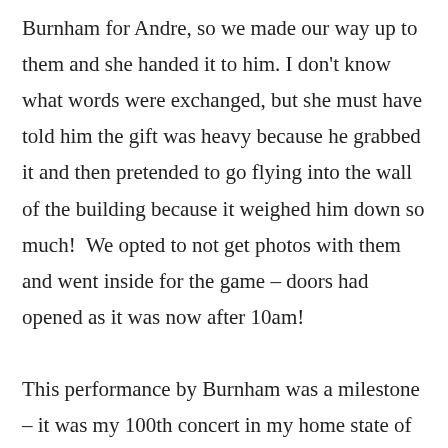Burnham for Andre, so we made our way up to them and she handed it to him. I don't know what words were exchanged, but she must have told him the gift was heavy because he grabbed it and then pretended to go flying into the wall of the building because it weighed him down so much!  We opted to not get photos with them and went inside for the game – doors had opened as it was now after 10am!

This performance by Burnham was a milestone – it was my 100th concert in my home state of Connecticut!